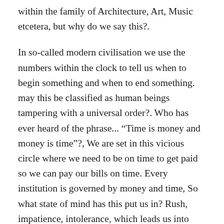within the family of Architecture, Art, Music etcetera, but why do we say this?.
In so-called modern civilisation we use the numbers within the clock to tell us when to begin something and when to end something. may this be classified as human beings tampering with a universal order?. Who has ever heard of the phrase... “Time is money and money is time”?, We are set in this vicious circle where we need to be on time to get paid so we can pay our bills on time. Every institution is governed by money and time, So what state of mind has this put us in? Rush, impatience, intolerance, which leads us into frustration and anger which ultimately becomes destruction and death, remember we serve “time”